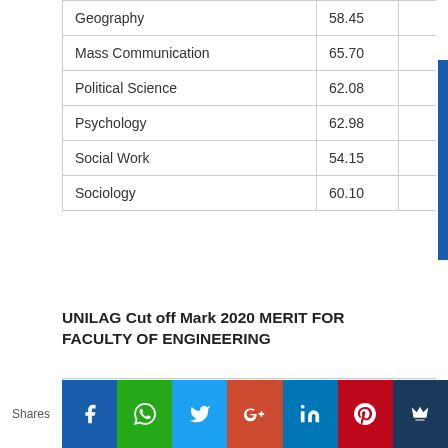|  |  |  |
| --- | --- | --- |
| Geography | 58.45 |  |
| Mass Communication | 65.70 |  |
| Political Science | 62.08 |  |
| Psychology | 62.98 |  |
| Social Work | 54.15 |  |
| Sociology | 60.10 |  |
UNILAG Cut off Mark 2020 MERIT FOR FACULTY OF ENGINEERING
| FACULTY OF ENGINEERING | MERIT |  |
| --- | --- | --- |
| Chemical & Petroleum Engineering | 70.93 |  |